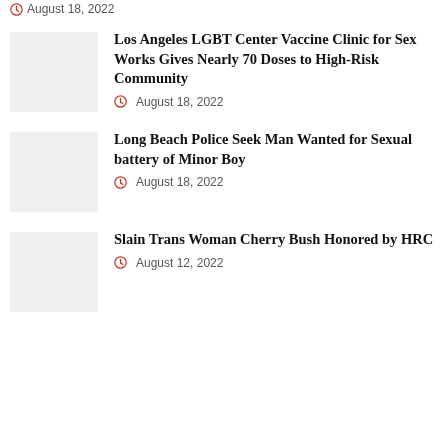August 18, 2022
Los Angeles LGBT Center Vaccine Clinic for Sex Works Gives Nearly 70 Doses to High-Risk Community
August 18, 2022
[Figure (photo): Thumbnail image placeholder]
Long Beach Police Seek Man Wanted for Sexual battery of Minor Boy
August 18, 2022
[Figure (photo): Thumbnail image placeholder]
Slain Trans Woman Cherry Bush Honored by HRC
August 12, 2022
[Figure (photo): Thumbnail image placeholder]